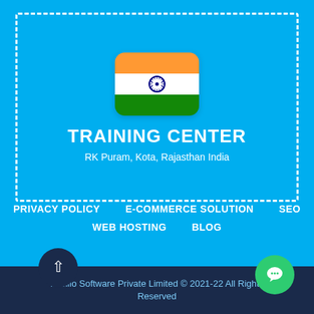[Figure (illustration): Indian flag icon with rounded corners (saffron, white with Ashoka Chakra, green stripes), inside a dashed white border box on cyan background]
TRAINING CENTER
RK Puram, Kota, Rajasthan India
PRIVACY POLICY
E-COMMERCE SOLUTION
SEO
WEB HOSTING
BLOG
Intellio Software Private Limited © 2021-22 All Rights Reserved